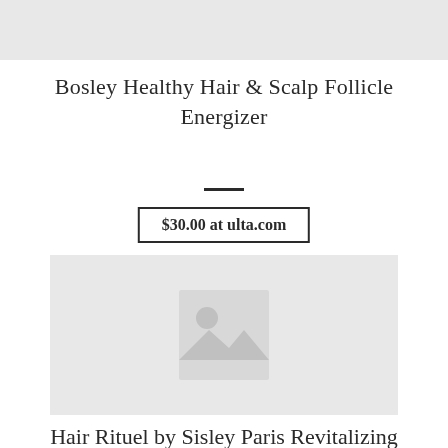[Figure (photo): Gray placeholder image at top of page]
Bosley Healthy Hair & Scalp Follicle Energizer
$30.00 at ulta.com
[Figure (photo): Gray product image placeholder with image icon]
Hair Rituel by Sisley Paris Revitalizing